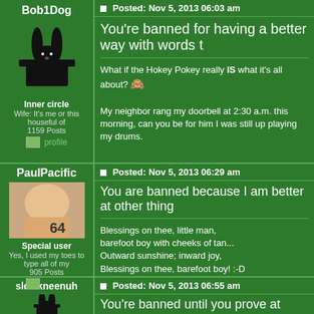Bob1Dog
Inner circle
Wife: It's me or this houseful of
1159 Posts
profile
Posted: Nov 5, 2013 06:03 am
You're banned for having a better way with words t
What if the Hokey Pokey really IS what it's all about? My neighbor rang my doorbell at 2:30 a.m. this morning, can you be for him I was still up playing my drums.
PaulPacific
Special user
Yes, I used my toes to type all of my
905 Posts
profile
Posted: Nov 5, 2013 06:29 am
You are banned because I am better at other thing
Blessings on thee, little man,
barefoot boy with cheeks of tan...
Outward sunshine; inward joy,
Blessings on thee, barefoot boy! :-D
slowkneenuh
Posted: Nov 5, 2013 06:55 am
You're banned until you prove at what other things
John